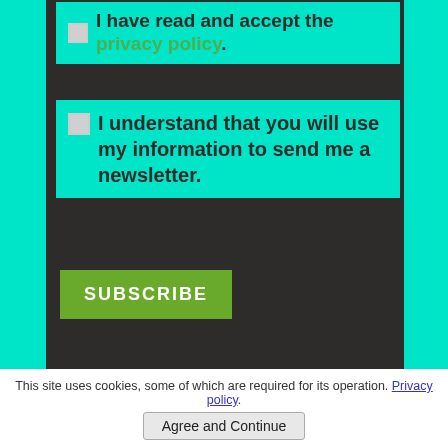I have read and accept the privacy policy.
I understand that you will use my information to send me a newsletter.
SUBSCRIBE
This site uses cookies, some of which are required for its operation. Privacy policy.
Agree and Continue